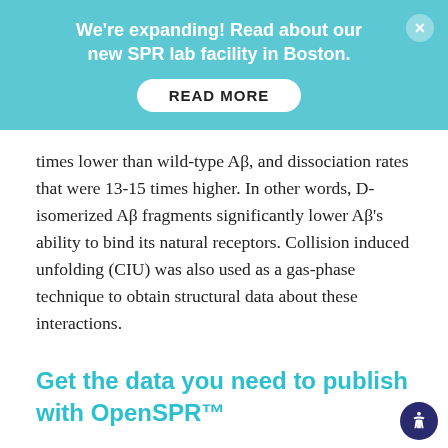We're expanding! Read about our new SPR lab facility in Boston. READ MORE
times lower than wild-type Aβ, and dissociation rates that were 13-15 times higher. In other words, D-isomerized Aβ fragments significantly lower Aβ's ability to bind its natural receptors. Collision induced unfolding (CIU) was also used as a gas-phase technique to obtain structural data about these interactions.
Get the data you need to publish with OpenSPR™
Thanks to the development of iCAP, the Li group